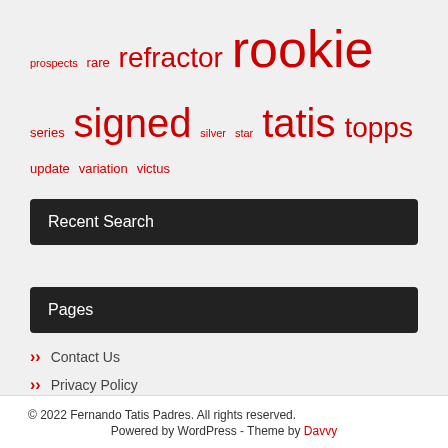prospects rare refractor rookie series signed silver star tatis topps update variation victus
Recent Search
Pages
Contact Us
Privacy Policy
Service Agreement
© 2022 Fernando Tatis Padres. All rights reserved. Powered by WordPress - Theme by Davvy